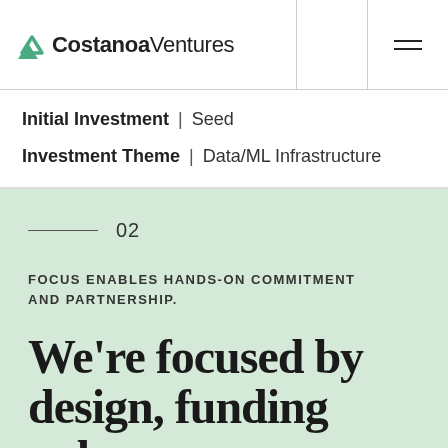Costanoa Ventures
Initial Investment | Seed
Investment Theme | Data/ML Infrastructure
02
FOCUS ENABLES HANDS-ON COMMITMENT AND PARTNERSHIP.
We're focused by design, funding only a